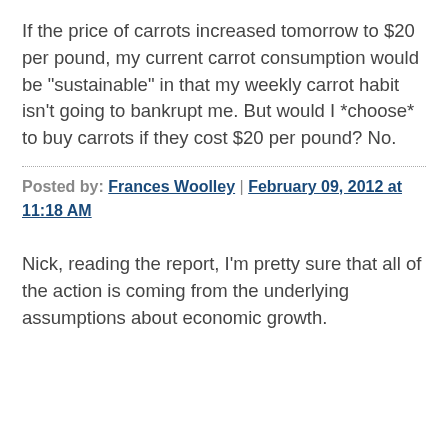If the price of carrots increased tomorrow to $20 per pound, my current carrot consumption would be "sustainable" in that my weekly carrot habit isn't going to bankrupt me. But would I *choose* to buy carrots if they cost $20 per pound? No.
Posted by: Frances Woolley | February 09, 2012 at 11:18 AM
Nick, reading the report, I'm pretty sure that all of the action is coming from the underlying assumptions about economic growth.